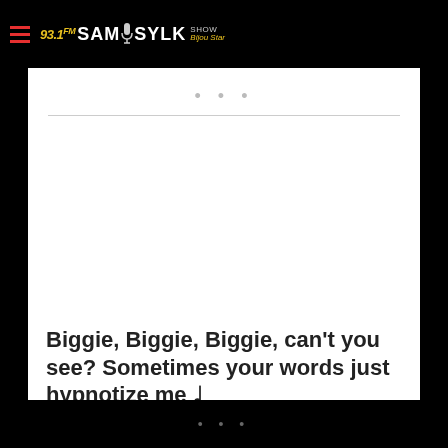93.1 FM SAM SYLK SHOW Bijou Star
Biggie, Biggie, Biggie, can't you see? Sometimes your words just hypnotize me ♩
The 'Hypnotize' phenomenon started in 1997 with Biggie Smalls and Puff Daddy, however today The Notorious B.I.G is